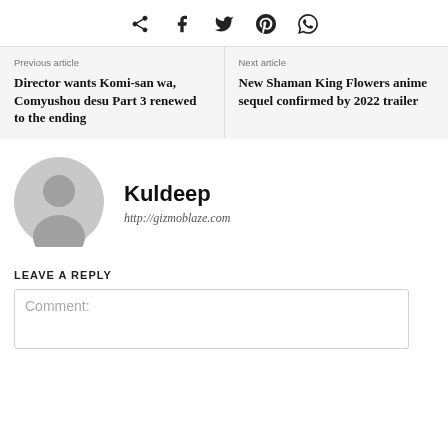[Figure (infographic): Social share icons: share, Facebook, Twitter, Pinterest, WhatsApp]
Previous article
Director wants Komi-san wa, Comyushou desu Part 3 renewed to the ending
Next article
New Shaman King Flowers anime sequel confirmed by 2022 trailer
[Figure (photo): Gray circular avatar/profile placeholder icon]
Kuldeep
http://gizmoblaze.com
LEAVE A REPLY
Comment: